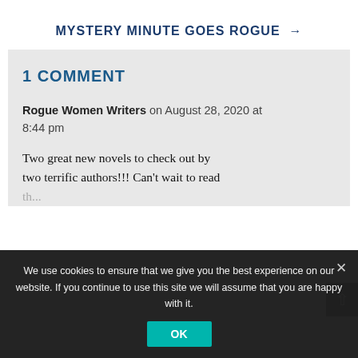MYSTERY MINUTE GOES ROGUE →
1 COMMENT
Rogue Women Writers on August 28, 2020 at 8:44 pm
Two great new novels to check out by two terrific authors!!! Can't wait to read th...
We use cookies to ensure that we give you the best experience on our website. If you continue to use this site we will assume that you are happy with it.